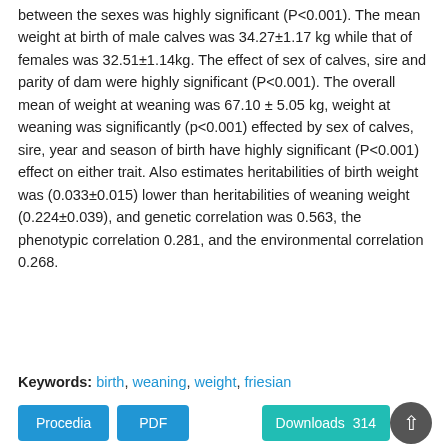between the sexes was highly significant (P<0.001). The mean weight at birth of male calves was 34.27±1.17 kg while that of females was 32.51±1.14kg. The effect of sex of calves, sire and parity of dam were highly significant (P<0.001). The overall mean of weight at weaning was 67.10 ± 5.05 kg, weight at weaning was significantly (p<0.001) effected by sex of calves, sire, year and season of birth have highly significant (P<0.001) effect on either trait. Also estimates heritabilities of birth weight was (0.033±0.015) lower than heritabilities of weaning weight (0.224±0.039), and genetic correlation was 0.563, the phenotypic correlation 0.281, and the environmental correlation 0.268.
Keywords: birth, weaning, weight, friesian
Procedia  PDF  Downloads 314